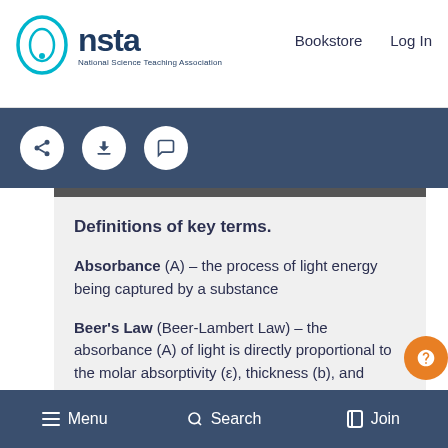[Figure (logo): NSTA – National Science Teaching Association logo with teal oval shape and dark blue text]
Bookstore   Log In
[Figure (screenshot): Dark blue toolbar with share, download, and comment icon buttons]
Definitions of key terms.
Absorbance (A) – the process of light energy being captured by a substance
Beer's Law (Beer-Lambert Law) – the absorbance (A) of light is directly proportional to the molar absorptivity (ε), thickness (b), and concentration (C) of the solution (A = εbC)
Menu   Search   Join